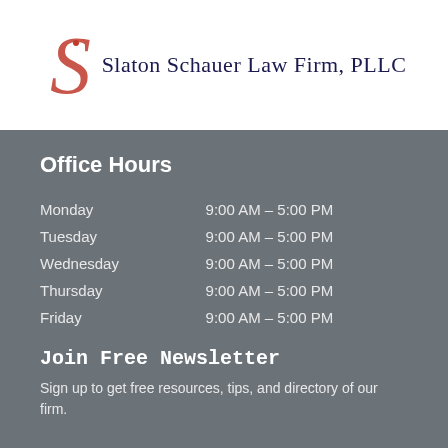[Figure (logo): Slaton Schauer Law Firm, PLLC logo with a decorative red cursive S overlaid on the firm name in navy blue serif text]
Office Hours
| Monday | 9:00 AM – 5:00 PM |
| Tuesday | 9:00 AM – 5:00 PM |
| Wednesday | 9:00 AM – 5:00 PM |
| Thursday | 9:00 AM – 5:00 PM |
| Friday | 9:00 AM – 5:00 PM |
Join Free Newsletter
Sign up to get free resources, tips, and directory of our firm.